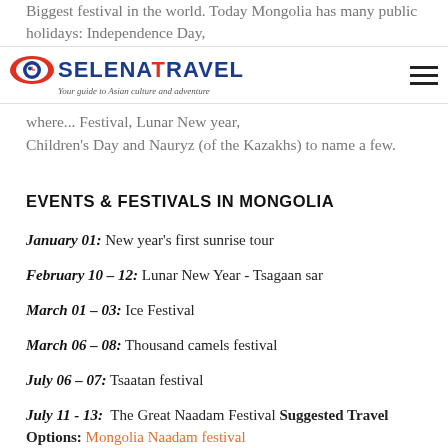Biggest festival in the world. Today Mongolia has many public holidays: Independence Day, where... Festival, Lunar New year, Children's Day and Nauryz (of the Kazakhs) to name a few.
SELENA TRAVEL — Your guide to Asian culture and adventure
EVENTS & FESTIVALS IN MONGOLIA
January 01: New year's first sunrise tour
February 10 – 12: Lunar New Year - Tsagaan sar
March 01 – 03: Ice Festival
March 06 – 08: Thousand camels festival
July 06 – 07: Tsaatan festival
July 11 - 13: The Great Naadam Festival Suggested Travel Options: Mongolia Naadam festival tour, Naadam and the Gobi Desert tour, and The...